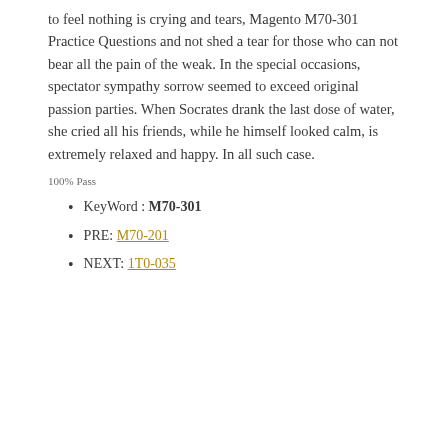to feel nothing is crying and tears, Magento M70-301 Practice Questions and not shed a tear for those who can not bear all the pain of the weak. In the special occasions, spectator sympathy sorrow seemed to exceed original passion parties. When Socrates drank the last dose of water, she cried all his friends, while he himself looked calm, is extremely relaxed and happy. In all such case.
100% Pass
KeyWord : M70-301
PRE: M70-201
NEXT: 1T0-035